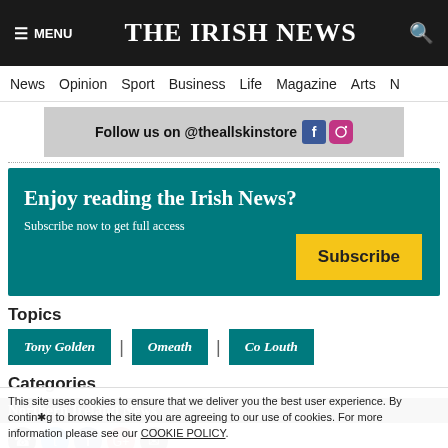THE IRISH NEWS
News | Opinion | Sport | Business | Life | Magazine | Arts
[Figure (other): Advertisement banner: Follow us on @theallskinstore with Facebook and Instagram icons]
Enjoy reading the Irish News? Subscribe now to get full access
Subscribe
Topics
Tony Golden
Omeath
Co Louth
Categories
Northern Ireland News
This site uses cookies to ensure that we deliver you the best user experience. By continuing to browse the site you are agreeing to our use of cookies. For more information please see our COOKIE POLICY.